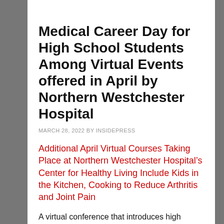Medical Career Day for High School Students Among Virtual Events offered in April by Northern Westchester Hospital
MARCH 28, 2022 BY INSIDEPRESS
Additional April Virtual Courses Taking Place at Northern Westchester Hospital’s Center for Healthy Living Include Kids in the Kitchen, Cooking to Reduce Arthritis and Joint Pain
A virtual conference that introduces high school